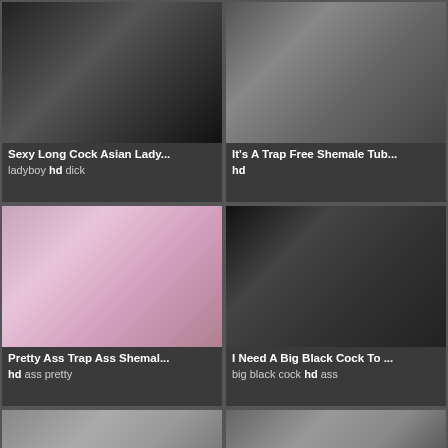[Figure (photo): Thumbnail image for adult video]
Sexy Long Cock Asian Lady...
ladyboy hd dick
[Figure (photo): Thumbnail image for adult video]
It's A Trap Free Shemale Tub...
hd
[Figure (photo): Thumbnail image for adult video]
Pretty Ass Trap Ass Shemal...
hd ass pretty
[Figure (photo): Thumbnail image for adult video]
I Need A Big Black Cock To ...
big black cock hd ass
[Figure (photo): Partial thumbnail image for adult video]
[Figure (photo): Partial thumbnail image for adult video]